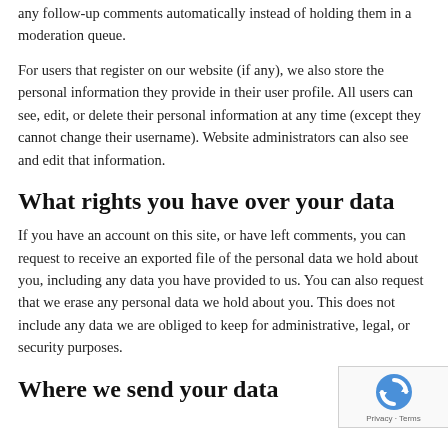any follow-up comments automatically instead of holding them in a moderation queue.
For users that register on our website (if any), we also store the personal information they provide in their user profile. All users can see, edit, or delete their personal information at any time (except they cannot change their username). Website administrators can also see and edit that information.
What rights you have over your data
If you have an account on this site, or have left comments, you can request to receive an exported file of the personal data we hold about you, including any data you have provided to us. You can also request that we erase any personal data we hold about you. This does not include any data we are obliged to keep for administrative, legal, or security purposes.
Where we send your data